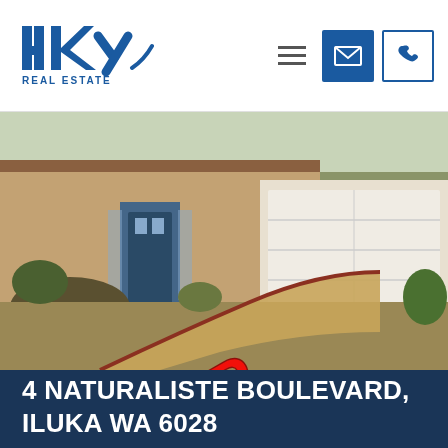[Figure (logo): HKY Real Estate logo - blue text with stylized letters HKy and REAL ESTATE below]
[Figure (photo): Exterior photo of a brick residential home with a white garage door, decorative brick paved driveway, front garden with plants and rocks, blue front door. Red 'UNDER OFFER' text overlaid diagonally across the image.]
4 NATURALISTE BOULEVARD, ILUKA WA 6028
MAKE AN OFFER